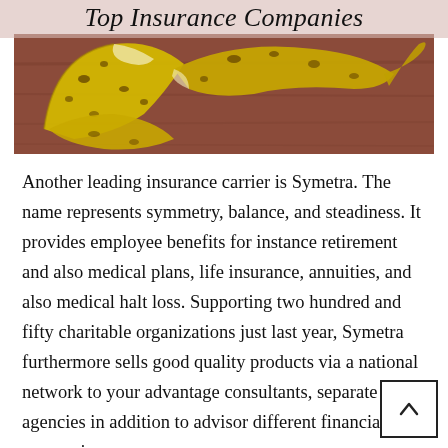Top Insurance Companies
[Figure (photo): A banana peel lying on a reddish-brown wooden surface, suggesting a slip hazard, used as a visual metaphor for insurance topics.]
Another leading insurance carrier is Symetra. The name represents symmetry, balance, and steadiness. It provides employee benefits for instance retirement and also medical plans, life insurance, annuities, and also medical halt loss. Supporting two hundred and fifty charitable organizations just last year, Symetra furthermore sells good quality products via a national network to your advantage consultants, separate agencies in addition to advisor different financial companies.